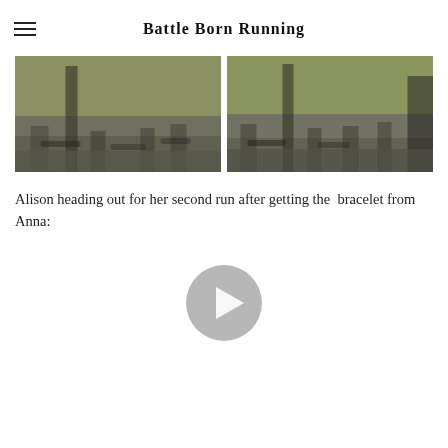Battle Born Running
[Figure (photo): Two side-by-side photos showing people's legs and shadows on a sidewalk/path at an outdoor running event.]
Alison heading out for her second run after getting the bracelet from Anna:
[Figure (other): Video player thumbnail with a grey circular play button icon.]